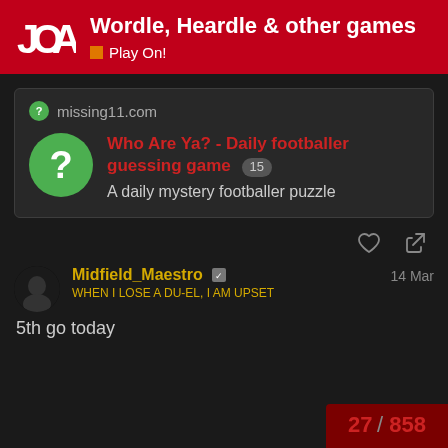Wordle, Heardle & other games — Play On!
missing11.com
Who Are Ya? - Daily footballer guessing game 15
A daily mystery footballer puzzle
Midfield_Maestro  14 Mar
WHEN I LOSE A DU-EL, I AM UPSET
5th go today
27 / 858